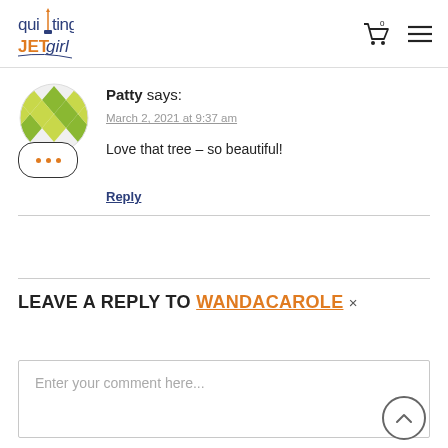quilting JETgirl
[Figure (illustration): User avatar: circular icon with green/yellow diamond quilt pattern]
Patty says:
March 2, 2021 at 9:37 am
Love that tree – so beautiful!
Reply
LEAVE A REPLY TO WANDACAROLE ×
Enter your comment here...